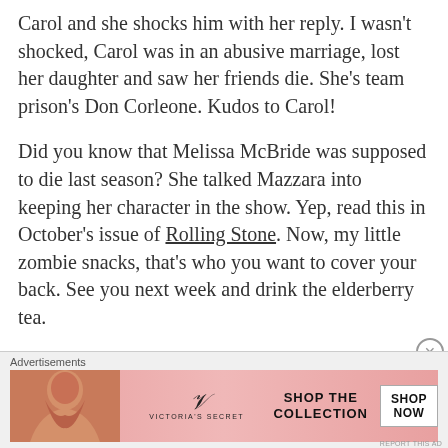Carol and she shocks him with her reply. I wasn't shocked, Carol was in an abusive marriage, lost her daughter and saw her friends die. She's team prison's Don Corleone. Kudos to Carol!
Did you know that Melissa McBride was supposed to die last season? She talked Mazzara into keeping her character in the show. Yep, read this in October's issue of Rolling Stone. Now, my little zombie snacks, that's who you want to cover your back. See you next week and drink the elderberry tea.
Advertisements
[Figure (infographic): Victoria's Secret advertisement banner with a model on the left, VS logo in the center, SHOP THE COLLECTION text, and a SHOP NOW button on the right.]